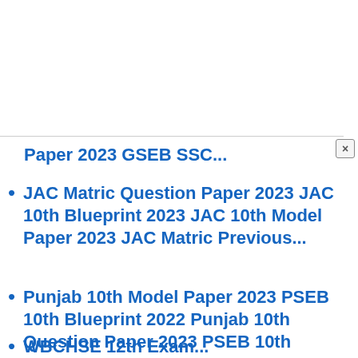Paper 2023 GSEB SSC...
JAC Matric Question Paper 2023 JAC 10th Blueprint 2023 JAC 10th Model Paper 2023 JAC Matric Previous...
Punjab 10th Model Paper 2023 PSEB 10th Blueprint 2022 Punjab 10th Question Paper 2023 PSEB 10th Exam...
WBCHSE 12th Exam...